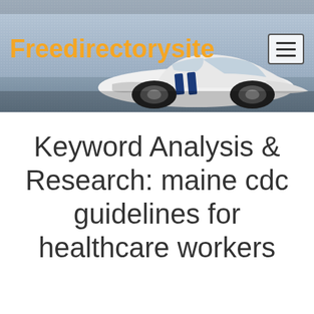[Figure (screenshot): Website header banner with a white sports car with blue racing stripes on a gray background. An orange bold site name 'Freedirectorysite' is overlaid on the left, and a hamburger menu icon button is on the upper right.]
Keyword Analysis & Research: maine cdc guidelines for healthcare workers